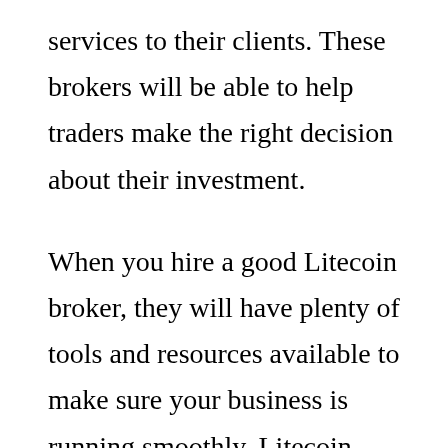services to their clients. These brokers will be able to help traders make the right decision about their investment.
When you hire a good Litecoin broker, they will have plenty of tools and resources available to make sure your business is running smoothly. Litecoin News Widget is probably the most used tool by these brokers. This widget can be fully customized to meet your specific needs. It will provide constant updates on cryptocurrency news and other